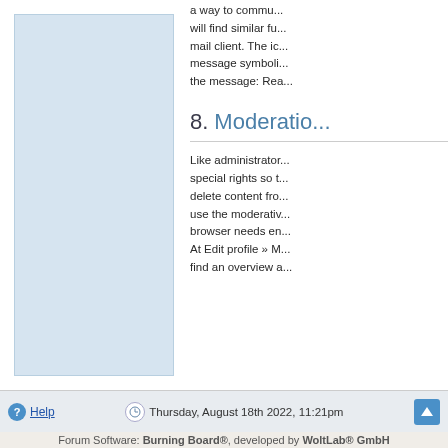[Figure (illustration): Light blue panel on the left side of the content area]
a way to commu... will find similar fu... mail client. The ic... message symboli... the message: Rea...
8. Moderatio...
Like administrator... special rights so t... delete content fro... use the moderativ... browser needs en... At Edit profile » M... find an overview a...
Help   Thursday, August 18th 2022, 11:21pm
Forum Software: Burning Board®, developed by WoltLab® GmbH